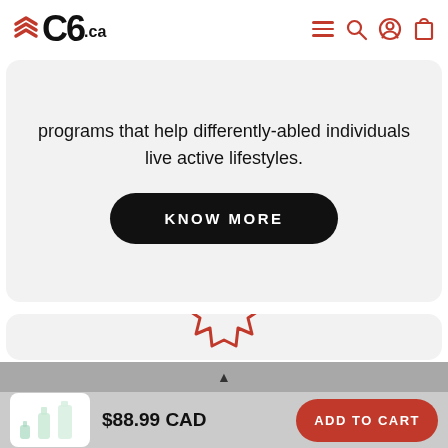C6.ca
programs that help differently-abled individuals live active lifestyles.
KNOW MORE
[Figure (illustration): Red maple leaf outline icon]
$88.99 CAD
ADD TO CART